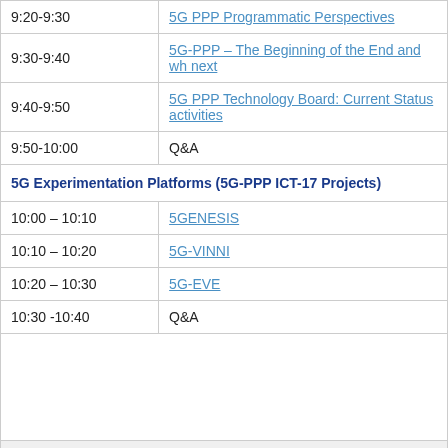| Time | Topic |
| --- | --- |
| 9:20-9:30 | 5G PPP Programmatic Perspectives |
| 9:30-9:40 | 5G-PPP – The Beginning of the End and wh... next |
| 9:40-9:50 | 5G PPP Technology Board: Current Status ... activities |
| 9:50-10:00 | Q&A |
| 5G Experimentation Platforms (5G-PPP ICT-17 Projects) |  |
| 10:00 – 10:10 | 5GENESIS |
| 10:10 – 10:20 | 5G-VINNI |
| 10:20 – 10:30 | 5G-EVE |
| 10:30 -10:40 | Q&A |
| (break) |  |
| 5G Vertical Experimentation (5G-PPP ICT-19 Projects) – |  |
| 11:00-11:10 | 5G VICTORI |